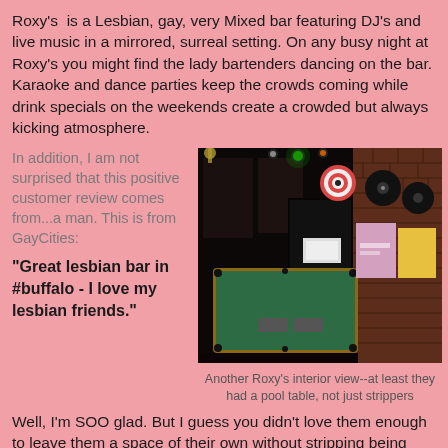Roxy's  is a Lesbian, gay, very Mixed bar featuring DJ's and live music in a mirrored, surreal setting. On any busy night at Roxy's you might find the lady bartenders dancing on the bar. Karaoke and dance parties keep the crowds coming while drink specials on the weekends create a crowded but always kicking atmosphere.
In addition, I am not surprised that this positive customer review comes from...a man. This is from GayCities:
"Great lesbian bar in #buffalo - I love my lesbian friends."
[Figure (photo): Interior of Roxy's bar showing a pool table with green felt surface, brick walls, posters and vinyl records on the walls, and colorful disco lights hanging from the ceiling]
Another Roxy's interior view--at least they had a pool table, not just strippers
Well, I'm SOO glad. But I guess you didn't love them enough to leave them a space of their own without stripping being involved.